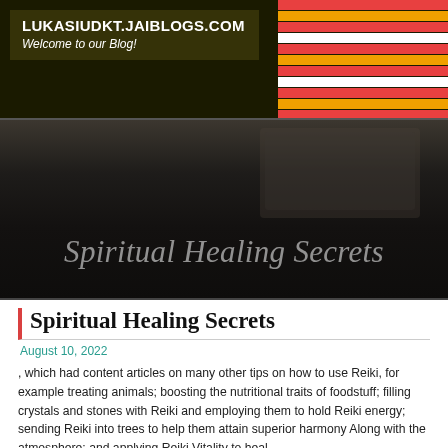LUKASIUDKT.JAIBLOGS.COM
Welcome to our Blog!
[Figure (photo): Dark background header image with decorative stripes in red, yellow, and white on the top right, and a faint desk/laptop photo in the background. Large italic text reads 'Spiritual Healing Secrets' in grey over the dark area.]
Spiritual Healing Secrets
August 10, 2022
, which had content articles on many other tips on how to use Reiki, for example treating animals; boosting the nutritional traits of foodstuff; filling crystals and stones with Reiki and employing them to hold Reiki energy; sending Reiki into trees to help them attain superior harmony Along with the atmosphere; and applying Reiki Vitality to heal